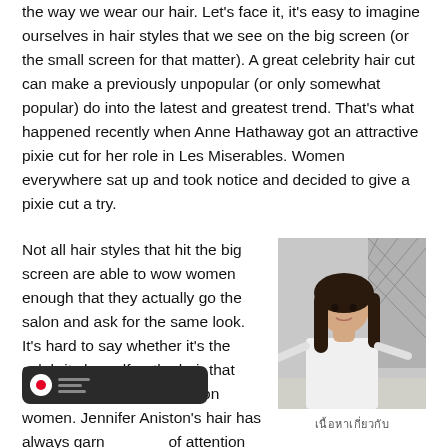the way we wear our hair. Let's face it, it's easy to imagine ourselves in hair styles that we see on the big screen (or the small screen for that matter). A great celebrity hair cut can make a previously unpopular (or only somewhat popular) do into the latest and greatest trend. That's what happened recently when Anne Hathaway got an attractive pixie cut for her role in Les Miserables. Women everywhere sat up and took notice and decided to give a pixie cut a try.
Not all hair styles that hit the big screen are able to wow women enough that they actually go the salon and ask for the same look. It's hard to say whether it's the celebrity herself or the hair that makes the big impression on women. Jennifer Aniston's hair has always garnered lots of attention and followers. Her newsworthy locks have
[Figure (photo): Woman with long dark hair wearing a white top, standing outdoors near a chain-link fence]
เนื้อหาเกี่ยวกับ